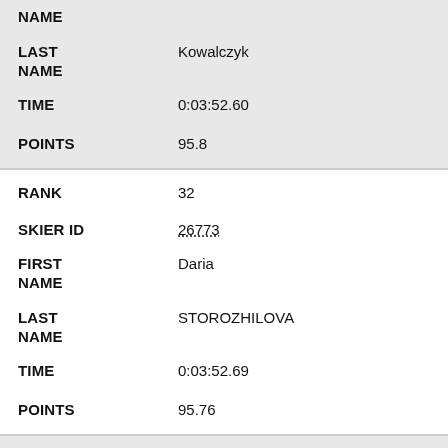| Field | Value |
| --- | --- |
| NAME |  |
| LAST NAME | Kowalczyk |
| TIME | 0:03:52.60 |
| POINTS | 95.8 |
| RANK | 32 |
| SKIER ID | 26773 |
| FIRST NAME | Daria |
| LAST NAME | STOROZHILOVA |
| TIME | 0:03:52.69 |
| POINTS | 95.76 |